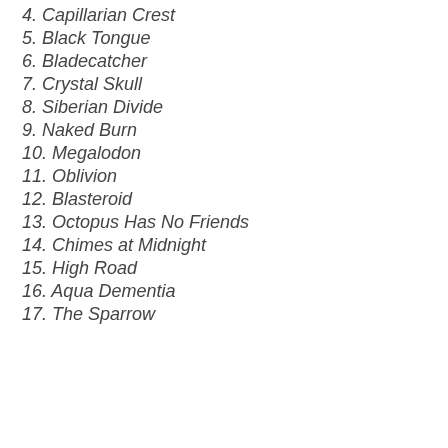4. Capillarian Crest
5. Black Tongue
6. Bladecatcher
7. Crystal Skull
8. Siberian Divide
9. Naked Burn
10. Megalodon
11. Oblivion
12. Blasteroid
13. Octopus Has No Friends
14. Chimes at Midnight
15. High Road
16. Aqua Dementia
17. The Sparrow